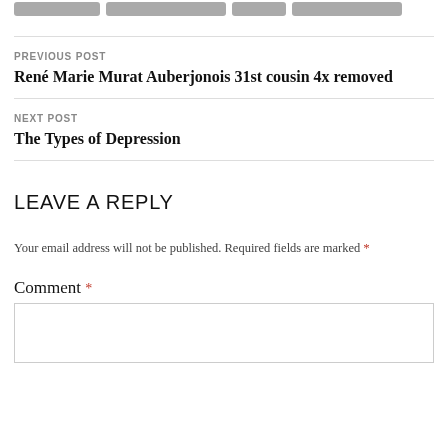[Figure (other): Row of gray tag/category pills at top of page]
PREVIOUS POST
René Marie Murat Auberjonois 31st cousin 4x removed
NEXT POST
The Types of Depression
LEAVE A REPLY
Your email address will not be published. Required fields are marked *
Comment *